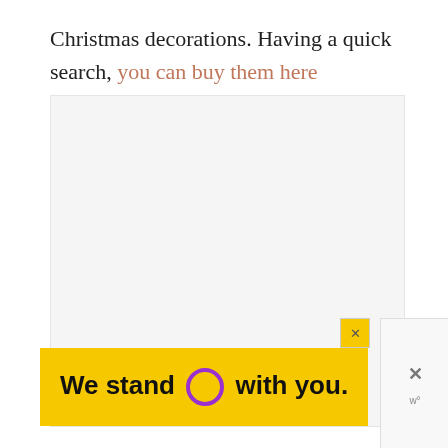Christmas decorations. Having a quick search, you can buy them here (affiliate).
[Figure (photo): A large light-gray placeholder image region, likely for a photo of Christmas decorations.]
[Figure (other): Advertisement banner with yellow background reading 'We stand O with you.' where O is a purple circle. Includes a close button X. Next to it is a small widget panel with an X and 'w°' label.]